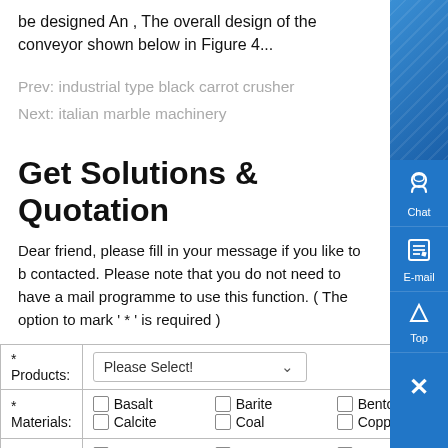be designed An , The overall design of the conveyor shown below in Figure 4...
Prev: industrial type black carrot crusher
Next: italian marble machinery
Get Solutions & Quotation
Dear friend, please fill in your message if you like to be contacted. Please note that you do not need to have a mail programme to use this function. ( The option to mark ' * ' is required )
| Field | Input |
| --- | --- |
| * Products: | Please Select! |
| * Materials: | ☐ Basalt  ☐ Barite  ☐ Bentonite
☐ Calcite  ☐ Coal  ☐ Copper |